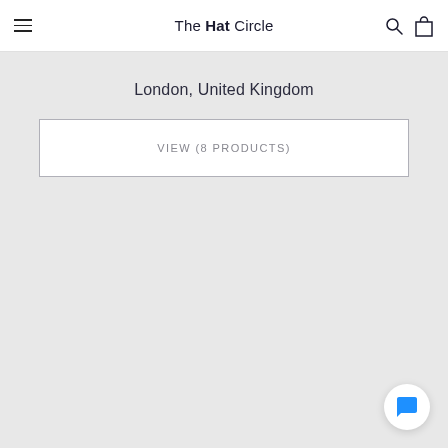The Hat Circle
London, United Kingdom
VIEW (8 PRODUCTS)